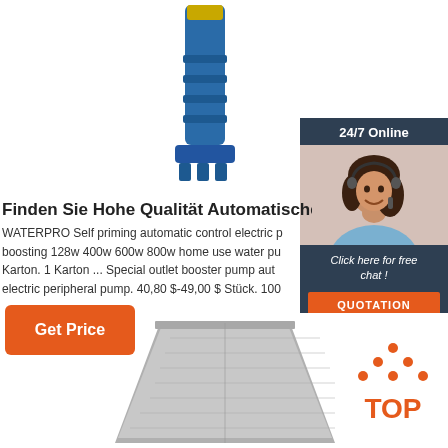[Figure (photo): Blue submersible water pump, tall cylindrical shape with yellow top component, shown vertically centered at top of page]
[Figure (photo): Customer service widget: dark blue/grey box with '24/7 Online' header, woman with headset smiling, 'Click here for free chat!' text in italic, and orange QUOTATION button]
Finden Sie Hohe Qualität Automatische Periph
WATERPRO Self priming automatic control electric p boosting 128w 400w 600w 800w home use water pu Karton. 1 Karton ... Special outlet booster pump aut electric peripheral pump. 40,80 $-49,00 $ Stück. 100
[Figure (other): Orange 'Get Price' button]
[Figure (photo): Grey metal pump/device base component, trapezoidal shape, shown at bottom center of page]
[Figure (logo): TOP logo with orange dots arranged in triangle above orange bold text 'TOP']